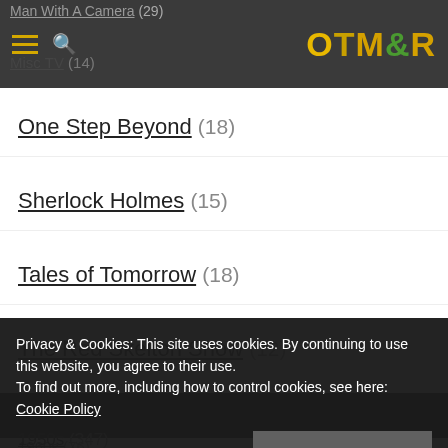OTM&R
Man With A Camera (29)
Misc TV (14)
One Step Beyond (18)
Sherlock Holmes (15)
Tales of Tomorrow (18)
The Red Skelton Show (12)
Tags
1950s (347)
Ronald Howard (15)
Privacy & Cookies: This site uses cookies. By continuing to use this website, you agree to their use.
To find out more, including how to control cookies, see here: Cookie Policy
1960s (76)
Swords and Sandals (15)